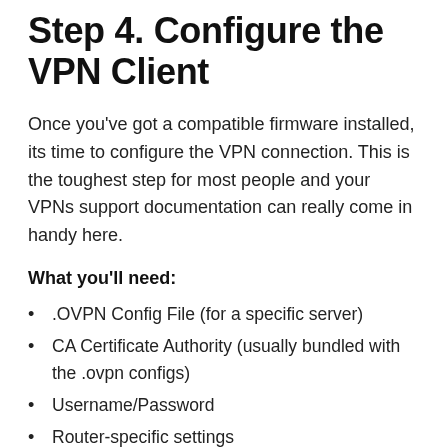Step 4. Configure the VPN Client
Once you've got a compatible firmware installed, its time to configure the VPN connection. This is the toughest step for most people and your VPNs support documentation can really come in handy here.
What you'll need:
.OVPN Config File (for a specific server)
CA Certificate Authority (usually bundled with the .ovpn configs)
Username/Password
Router-specific settings